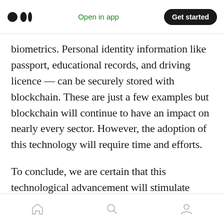Open in app | Get started
biometrics. Personal identity information like passport, educational records, and driving licence — can be securely stored with blockchain. These are just a few examples but blockchain will continue to have an impact on nearly every sector. However, the adoption of this technology will require time and efforts.
To conclude, we are certain that this technological advancement will stimulate people to acquire new skills in the coming years. On the other hand, the traditional business will have to completely reconsider their processes.
Home | Search | Profile